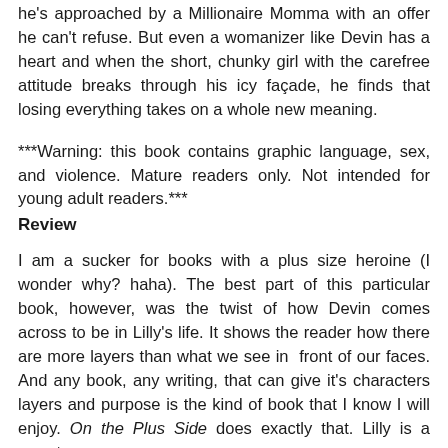he's approached by a Millionaire Momma with an offer he can't refuse. But even a womanizer like Devin has a heart and when the short, chunky girl with the carefree attitude breaks through his icy façade, he finds that losing everything takes on a whole new meaning.
***Warning: this book contains graphic language, sex, and violence. Mature readers only. Not intended for young adult readers.***
Review
I am a sucker for books with a plus size heroine (I wonder why? haha). The best part of this particular book, however, was the twist of how Devin comes across to be in Lilly's life. It shows the reader how there are more layers than what we see in front of our faces. And any book, any writing, that can give it's characters layers and purpose is the kind of book that I know I will enjoy. On the Plus Side does exactly that. Lilly is a sweet